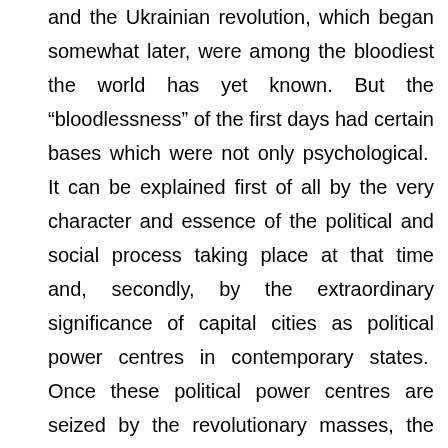and the Ukrainian revolution, which began somewhat later, were among the bloodiest the world has yet known. But the “bloodlessness” of the first days had certain bases which were not only psychological. It can be explained first of all by the very character and essence of the political and social process taking place at that time and, secondly, by the extraordinary significance of capital cities as political power centres in contemporary states. Once these political power centres are seized by the revolutionary masses, the power of the old regime on the entire periphery is suddenly paralyzed.